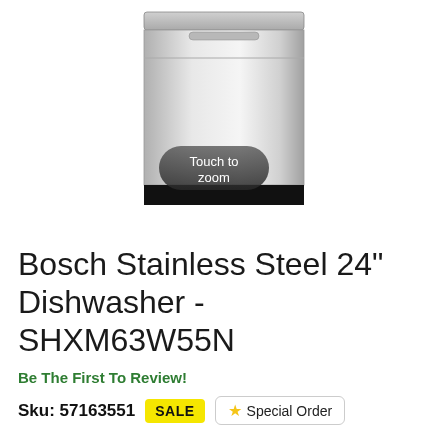[Figure (photo): A Bosch stainless steel dishwasher product photo with a dark 'Touch to zoom' overlay button at the bottom center of the image.]
Bosch Stainless Steel 24" Dishwasher - SHXM63W55N
Be The First To Review!
Sku: 57163551  SALE  ☆ Special Order